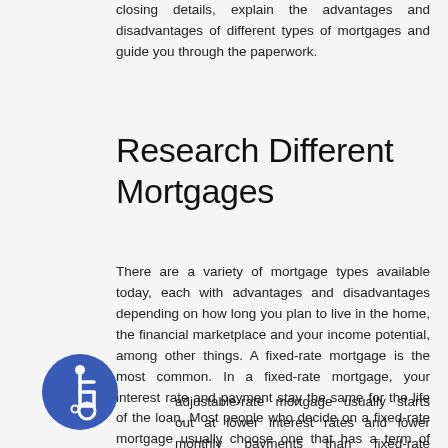closing details, explain the advantages and disadvantages of different types of mortgages and guide you through the paperwork.
Research Different Mortgages
There are a variety of mortgage types available today, each with advantages and disadvantages depending on how long you plan to live in the home, the financial marketplace and your income potential, among other things. A fixed-rate mortgage is the most common. In a fixed-rate mortgage, your interest rate and payment stay the same for the life of the loan. Most people who decide on a fixed-rate mortgage usually choose one that has a term of either 15 or 30 years.
An adjustable-rate mortgage usually starts out at lower interest rates and lower monthly payments than fixed-rate mortgages, but your rate and monthly payments may rise
[Figure (illustration): Blue circular accessibility icon showing a wheelchair user symbol in white]